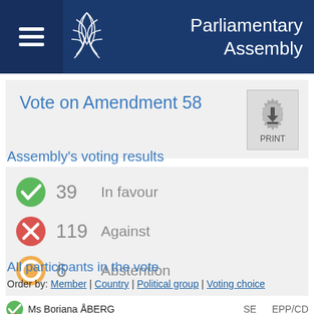Parliamentary Assembly
Vote on Amendment 58
Assembly's voting results
| Icon | Count | Description |
| --- | --- | --- |
| ✓ | 39 | In favour |
| ✗ | 119 | Against |
| ○ | 6 | Abstention |
All participants in the vote
Order by: Member | Country | Political group | Voting choice
Ms Boriana ÅBERG  SE  EPP/CD